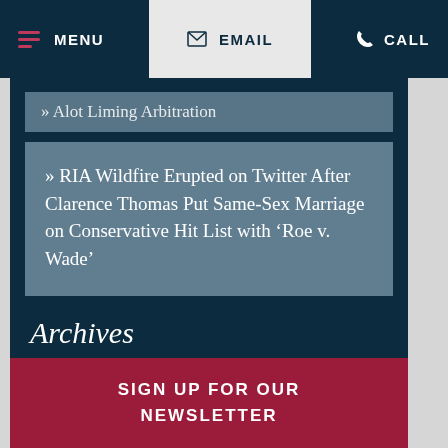MENU | EMAIL | CALL
» Alot Liming Arbitration
» RIA Wildfire Erupted on Twitter After Clarence Thomas Put Same-Sex Marriage on Conservative Hit List with ‘Roe v. Wade’
Archives
Select Month
SIGN UP FOR OUR NEWSLETTER